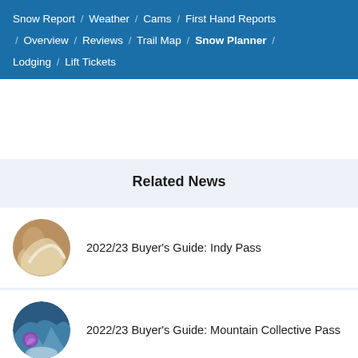Snow Report / Weather / Cams / First Hand Reports / Overview / Reviews / Trail Map / Snow Planner / Lodging / Lift Tickets
Related News
2022/23 Buyer's Guide: Indy Pass
2022/23 Buyer's Guide: Mountain Collective Pass